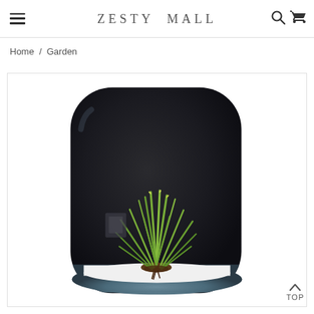ZESTY MALL
Home / Garden
[Figure (photo): A round, dark navy/black ceramic wall planter with a small air plant (tillandsia) sitting in its white interior bowl. The planter has a smooth, glossy finish with a gradient from dark at the top to lighter blue-grey at the bottom.]